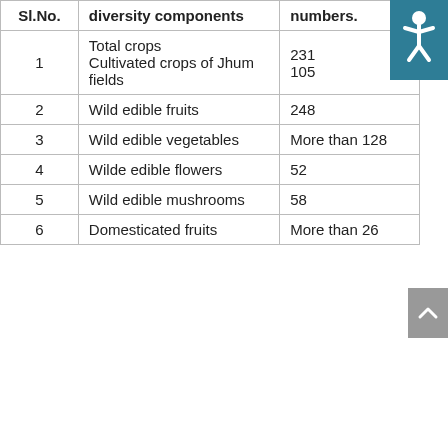| Sl.No. | diversity components | numbers. |
| --- | --- | --- |
| 1 | Total crops
Cultivated crops of Jhum fields | 231
105 |
| 2 | Wild edible fruits | 248 |
| 3 | Wild edible vegetables | More than 128 |
| 4 | Wilde edible flowers | 52 |
| 5 | Wild edible mushrooms | 58 |
| 6 | Domesticated fruits | More than 26 |